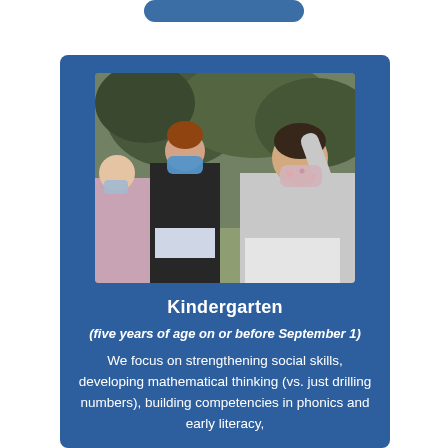[Figure (photo): Children wearing face masks outdoors, one girl raising her hand, sitting on a ledge with trees in the background]
Kindergarten
(five years of age on or before September 1)
We focus on strengthening social skills, developing mathematical thinking (vs. just drilling numbers), building competencies in phonics and early literacy,